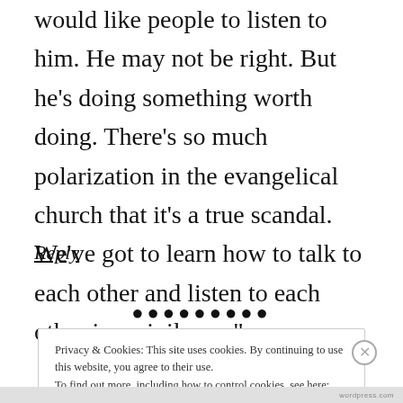would like people to listen to him. He may not be right. But he’s doing something worth doing. There’s so much polarization in the evangelical church that it’s a true scandal. We’ve got to learn how to talk to each other and listen to each other in a civil way.”
Reply
●●●●●●●●●
Privacy & Cookies: This site uses cookies. By continuing to use this website, you agree to their use. To find out more, including how to control cookies, see here: Cookie Policy
Close and accept